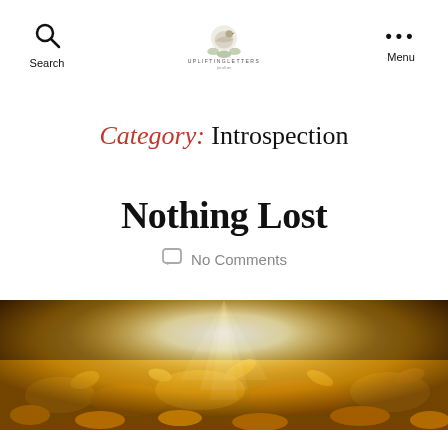Search | UPLIFTINGLETTERS | Menu
[Figure (logo): UpliftingLetters logo with decorative bird/floral illustration and text UPLIFTINGLETTERS]
Category: Introspection
Nothing Lost
No Comments
[Figure (photo): Photo of golden autumn leaves with bright light rays shining through, warm golden-yellow tones, dark background]